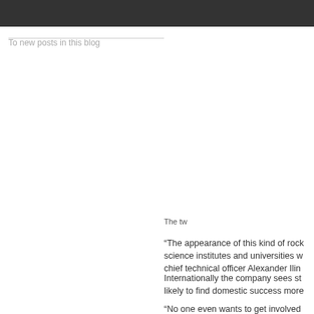To new posts in this blog
The tw
“The appearance of this kind of rock science institutes and universities w chief technical officer Alexander Ilin
Internationally the company sees st likely to find domestic success more
“No one even wants to get involved